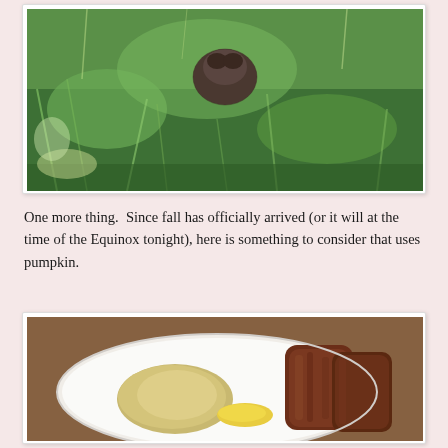[Figure (photo): A blurry outdoor photo showing green grass and vegetation with a dark animal (likely a groundhog or similar) partially visible among the foliage.]
One more thing.  Since fall has officially arrived (or it will at the time of the Equinox tonight), here is something to consider that uses pumpkin.
[Figure (photo): A plate of food on a brown surface featuring what appears to be applesauce or mashed food, corn, and a large browned sausage or meat patty.]